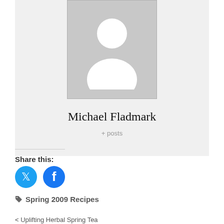[Figure (illustration): Default user avatar placeholder image — grey background with white silhouette person icon]
Michael Fladmark
+ posts
Share this:
[Figure (other): Twitter and Facebook share buttons (blue circular icons)]
Spring 2009 Recipes
< Uplifting Herbal Spring Tea